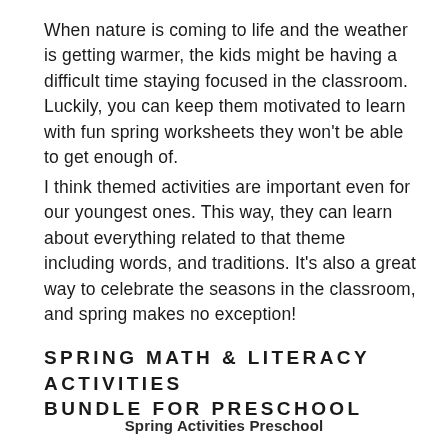When nature is coming to life and the weather is getting warmer, the kids might be having a difficult time staying focused in the classroom. Luckily, you can keep them motivated to learn with fun spring worksheets they won't be able to get enough of.
I think themed activities are important even for our youngest ones. This way, they can learn about everything related to that theme including words, and traditions. It's also a great way to celebrate the seasons in the classroom, and spring makes no exception!
SPRING MATH & LITERACY ACTIVITIES BUNDLE FOR PRESCHOOL
Spring Activities Preschool